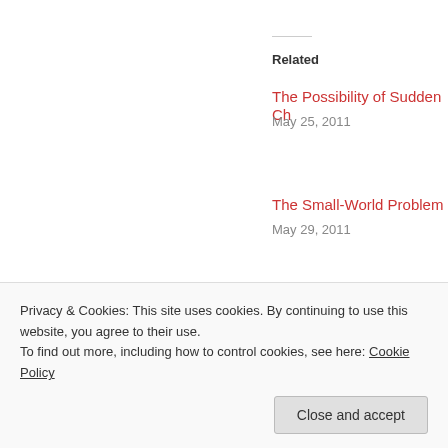Related
The Possibility of Sudden Ch…
May 25, 2011
The Small-World Problem
May 29, 2011
[Figure (photo): Headshot photo of Abdul Rahman]
About Abdul Rahman
I use this space to share intere…
Privacy & Cookies: This site uses cookies. By continuing to use this website, you agree to their use. To find out more, including how to control cookies, see here: Cookie Policy